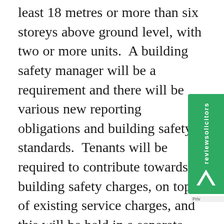least 18 metres or more than six storeys above ground level, with two or more units.  A building safety manager will be a requirement and there will be various new reporting obligations and building safety standards.  Tenants will be required to contribute towards building safety charges, on top of existing service charges, and this will be held in a separate, designated account.  It looks though the Government is looking to ensure upgrade of historic defects within as little as two years from implementation of the Bill.  so, landlords will have little time to progress works, which is why they should be looking to understand the new environment and g...
[Figure (logo): reviewsolicitors badge/widget — green vertical banner with 'reviewsolicitors' text and a white angular chevron/arrow logo mark]